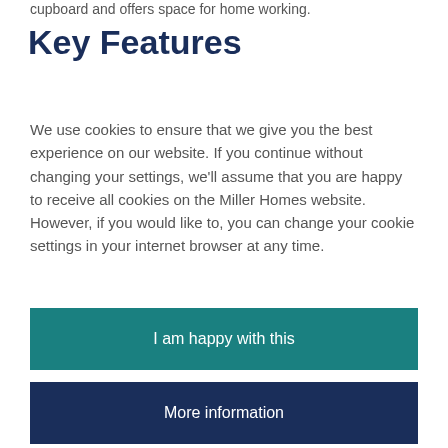cupboard and offers space for home working.
Key Features
We use cookies to ensure that we give you the best experience on our website. If you continue without changing your settings, we'll assume that you are happy to receive all cookies on the Miller Homes website. However, if you would like to, you can change your cookie settings in your internet browser at any time.
I am happy with this
More information